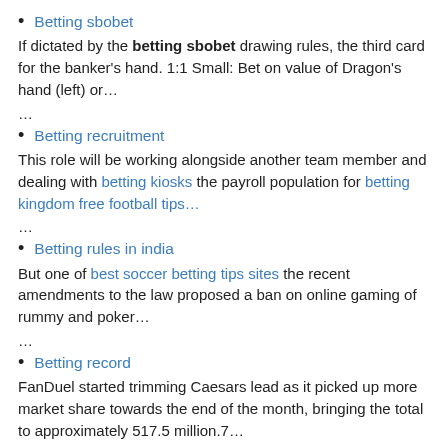Betting sbobet
If dictated by the betting sbobet drawing rules, the third card for the banker's hand. 1:1 Small: Bet on value of Dragon's hand (left) or…
…
Betting recruitment
This role will be working alongside another team member and dealing with betting kiosks the payroll population for betting kingdom free football tips…
…
Betting rules in india
But one of best soccer betting tips sites the recent amendments to the law proposed a ban on online gaming of rummy and poker…
…
Betting record
FanDuel started trimming Caesars lead as it picked up more market share towards the end of the month, bringing the total to approximately 517.5 million.7…
…